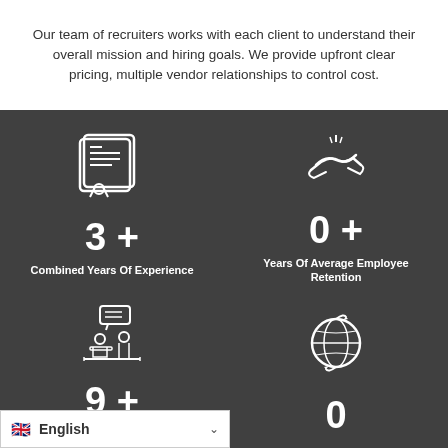Our team of recruiters works with each client to understand their overall mission and hiring goals. We provide upfront clear pricing, multiple vendor relationships to control cost.
[Figure (infographic): Dark background infographic with four statistics: 3+ Combined Years Of Experience (certificate icon), 0+ Years Of Average Employee Retention (handshake icon), 9+ Coding Language Tests Available (classroom/interview icon), 0 (globe icon). Background shows silhouetted people waiting.]
3 +
Combined Years Of Experience
0 +
Years Of Average Employee Retention
9 +
Coding Language Tests Available
0